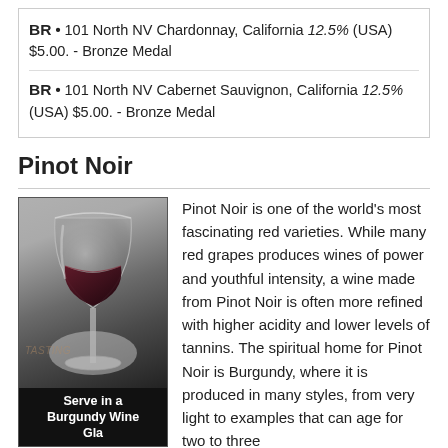BR • 101 North NV Chardonnay, California 12.5% (USA) $5.00. - Bronze Medal
BR • 101 North NV Cabernet Sauvignon, California 12.5% (USA) $5.00. - Bronze Medal
Pinot Noir
[Figure (photo): A Burgundy wine glass filled with red wine, served against a grey gradient background. Caption reads: Serve in a Burgundy Wine Glass]
Pinot Noir is one of the world's most fascinating red varieties. While many red grapes produces wines of power and youthful intensity, a wine made from Pinot Noir is often more refined with higher acidity and lower levels of tannins. The spiritual home for Pinot Noir is Burgundy, where it is produced in many styles, from very light to examples that can age for two to three